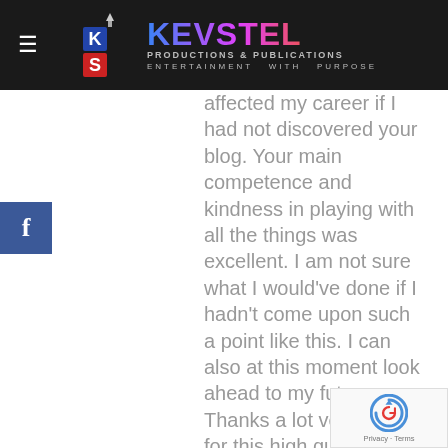KEVSTEL PRODUCTIONS & PUBLICATIONS — ENTERTAINMENT WITH PURPOSE
[Figure (logo): Kevstel Productions & Publications logo with K and S letters and colorful KEVSTEL text]
[Figure (logo): Facebook share button (f icon on blue background)]
affected my career if I had not discovered your blog. Your main competence and kindness in playing with all the things was excellent. I am not sure what I would've done if I hadn't come upon such a point like this. I can also at this moment look ahead to my future. Thanks a lot very much for this high quality and result oriented guide. I will not hesitate to endorse the sites to any individual who would like guide about this topic.
[Figure (other): Google reCAPTCHA badge with logo and Privacy - Terms text]